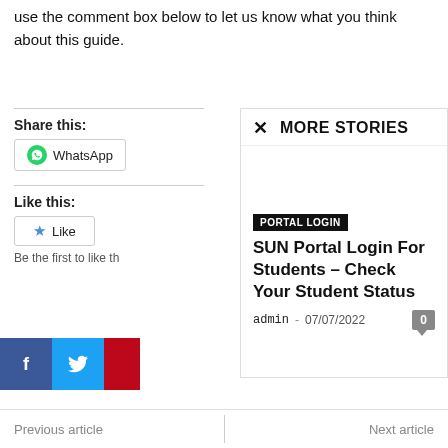use the comment box below to let us know what you think about this guide.
Share this:
[Figure (other): WhatsApp share button]
Like this:
[Figure (other): Like button with star icon]
Be the first to like th
[Figure (other): Social share buttons: Facebook (f), Twitter (bird), Pinterest (red)]
[Figure (other): More Stories panel with close X button]
PORTAL LOGIN
SUN Portal Login For Students – Check Your Student Status
admin - 07/07/2022
Previous article    Next article